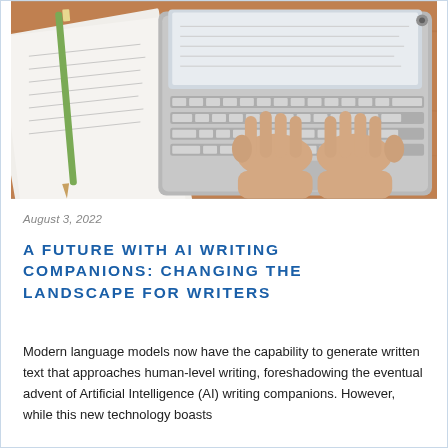[Figure (photo): Overhead view of person's hands typing on a silver laptop keyboard, with printed papers and a pencil visible to the left on a wooden desk surface.]
August 3, 2022
A FUTURE WITH AI WRITING COMPANIONS: CHANGING THE LANDSCAPE FOR WRITERS
Modern language models now have the capability to generate written text that approaches human-level writing, foreshadowing the eventual advent of Artificial Intelligence (AI) writing companions. However, while this new technology boasts